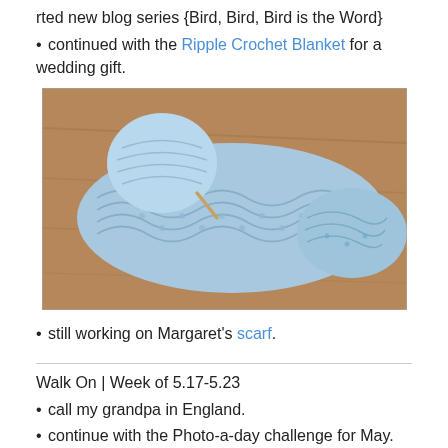rted new blog series {Bird, Bird, Bird is the Word}
• continued with the Ripple Crochet Blanket for a wedding gift.
[Figure (photo): A blue crochet blanket/work in progress with a ball of light blue yarn, laid on a wooden surface.]
• still working on Margaret's scarf.
Walk On | Week of 5.17-5.23
• call my grandpa in England.
• continue with the Photo-a-day challenge for May.
• continue to work on Margaret's scarf.